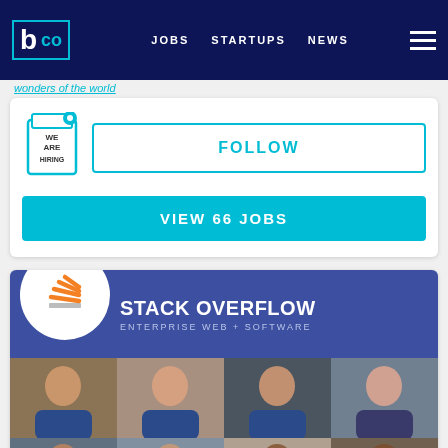b co | JOBS  STARTUPS  NEWS
wonders of the world
[Figure (illustration): We Are Hiring badge icon]
FOLLOW
VIEW 66 JOBS
[Figure (logo): Stack Overflow logo with orange stacked papers icon]
STACK OVERFLOW
ENTERPRISE WEB + SOFTWARE
[Figure (photo): Grid of employee/team photos showing multiple people in video call format]